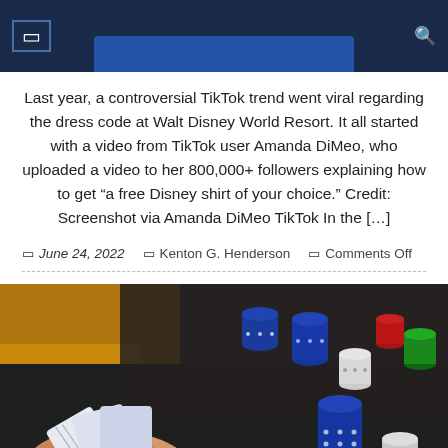Navigation header with menu icon and search icon
Last year, a controversial TikTok trend went viral regarding the dress code at Walt Disney World Resort. It all started with a video from TikTok user Amanda DiMeo, who uploaded a video to her 800,000+ followers explaining how to get “a free Disney shirt of your choice.” Credit: Screenshot via Amanda DiMeo TikTok In the […]
June 24, 2022  Kenton G. Henderson  Comments Off
[Figure (photo): Close-up photo of a hand holding playing cards on a dark table covered with casino poker chips in various colors including blue, white, red, and green.]